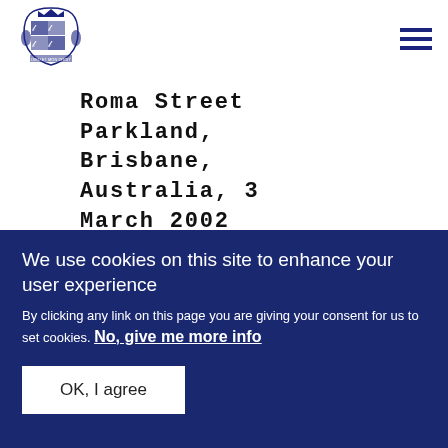[Figure (logo): UK Royal coat of arms logo in dark blue]
Roma Street Parkland, Brisbane, Australia, 3 March 2002
We use cookies on this site to enhance your user experience
By clicking any link on this page you are giving your consent for us to set cookies. No, give me more info
OK, I agree